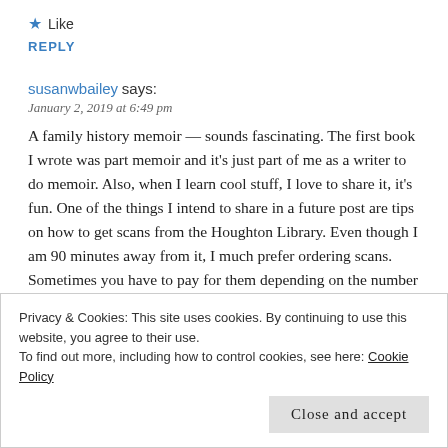★ Like
REPLY
susanwbailey says:
January 2, 2019 at 6:49 pm
A family history memoir — sounds fascinating. The first book I wrote was part memoir and it's just part of me as a writer to do memoir. Also, when I learn cool stuff, I love to share it, it's fun. One of the things I intend to share in a future post are tips on how to get scans from the Houghton Library. Even though I am 90 minutes away from it, I much prefer ordering scans. Sometimes you have to pay for them depending on the number of pages, but then the pages get posted online so others can read them too. One thing I have certainly learned
Privacy & Cookies: This site uses cookies. By continuing to use this website, you agree to their use.
To find out more, including how to control cookies, see here: Cookie Policy
Close and accept